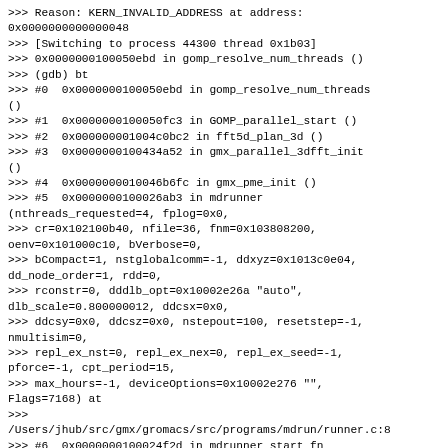>>> Reason: KERN_INVALID_ADDRESS at address: 0x0000000000000048
>>> [Switching to process 44300 thread 0x1b03]
>>> 0x0000000100050ebd in gomp_resolve_num_threads ()
>>> (gdb) bt
>>> #0  0x0000000100050ebd in gomp_resolve_num_threads
()
>>> #1  0x0000000100050fc3 in GOMP_parallel_start ()
>>> #2  0x000000001004c0bc2 in fft5d_plan_3d ()
>>> #3  0x0000000100434a52 in gmx_parallel_3dfft_init
()
>>> #4  0x0000000010046b6fc in gmx_pme_init ()
>>> #5  0x0000000100026ab3 in mdrunner
(nthreads_requested=4, fplog=0x0,
>>> cr=0x102100b40, nfile=36, fnm=0x103808200,
oenv=0x101000c10, bVerbose=0,
>>> bCompact=1, nstglobalcomm=-1, ddxyz=0x1013c0e04,
dd_node_order=1, rdd=0,
>>> rconstr=0, dddlb_opt=0x10002e26a "auto",
dlb_scale=0.800000012, ddcsx=0x0,
>>> ddcsy=0x0, ddcsz=0x0, nstepout=100, resetstep=-1,
nmultisim=0,
>>> repl_ex_nst=0, repl_ex_nex=0, repl_ex_seed=-1,
pforce=-1, cpt_period=15,
>>> max_hours=-1, deviceOptions=0x10002e276 "",
Flags=7168) at
>>>
/Users/jhub/src/gmx/gromacs/src/programs/mdrun/runner.c:8
>>> #6  0x0000000100024f2d in mdrunner_start_fn
(arg=0x101005d60) at
...